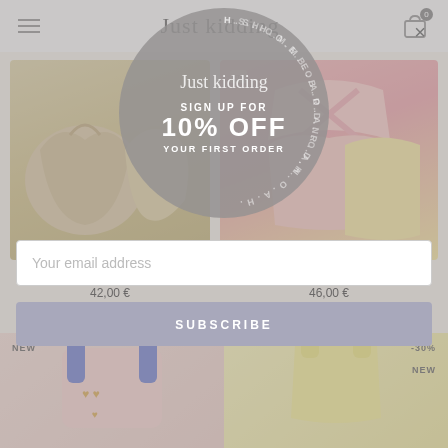Just kidding (logo) — navigation bar with hamburger menu and cart icon (0 items)
[Figure (photo): Terry Cotton Swimsuit product image — two swimsuit bottoms in tan/khaki color]
Terry Cotton Swimsuit - The Ga...
42,00 €
[Figure (photo): Swimsuit with Crossed Straps product image — pink and yellow swimsuit pieces]
Swimsuit With Crossed Straps ...
46,00 €
[Figure (infographic): Modal popup overlay with circular badge — script logo 'Just kidding', text 'SIGN UP FOR 10% OFF YOUR FIRST ORDER' with ring of letters around circle perimeter, close X button top right]
Your email address
SUBSCRIBE
[Figure (photo): NEW badge — pink dungaree/overalls with blue straps and gold heart pattern]
NEW
-30%
[Figure (photo): NEW badge — yellow/cream tank swimsuit]
NEW